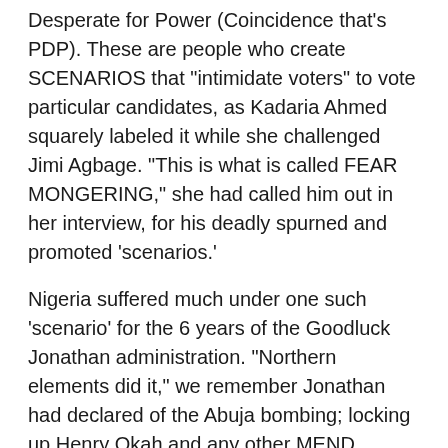Desperate for Power (Coincidence that's PDP). These are people who create SCENARIOS that "intimidate voters" to vote particular candidates, as Kadaria Ahmed squarely labeled it while she challenged Jimi Agbage. "This is what is called FEAR MONGERING," she had called him out in her interview, for his deadly spurned and promoted 'scenarios.'
Nigeria suffered much under one such 'scenario' for the 6 years of the Goodluck Jonathan administration. "Northern elements did it," we remember Jonathan had declared of the Abuja bombing; locking up Henry Okah and any other MEND member who claimed it was their assignment. We were to live watching Boko Haram exterminating, abducting and displacing us while our government folded their hands and fed us with the deadly political 'scenario,' until thank God, Stephen Davis and the hunters of Adamawa stepped in.
We are worried about two people: Nuhu Ribadu and Jimi